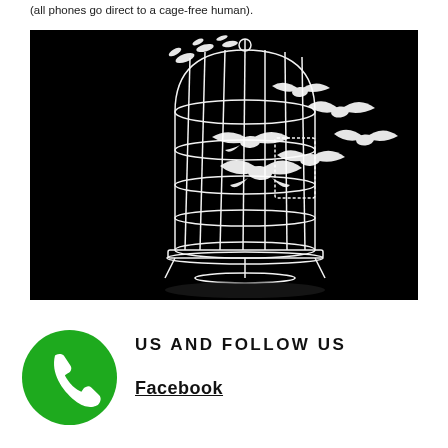(all phones go direct to a cage-free human).
[Figure (illustration): Black background illustration of a white wire birdcage with the door open, and white doves/birds flying out of it upward and to the right, symbolizing freedom.]
US AND FOLLOW US
Facebook